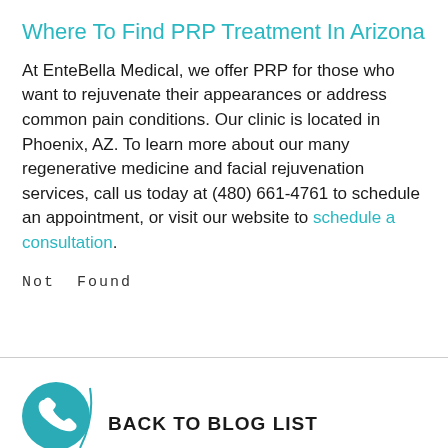Where To Find PRP Treatment In Arizona
At EnteBella Medical, we offer PRP for those who want to rejuvenate their appearances or address common pain conditions. Our clinic is located in Phoenix, AZ. To learn more about our many regenerative medicine and facial rejuvenation services, call us today at (480) 661-4761 to schedule an appointment, or visit our website to schedule a consultation.
Not Found
[Figure (illustration): Teal phone icon inside a teal circle at the bottom left, with a partial teal arc beside it. Text reading BACK TO BLOG LIST partially visible at bottom right.]